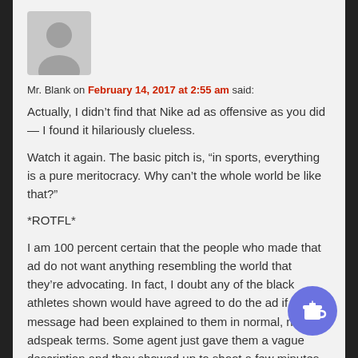[Figure (illustration): Gray placeholder avatar silhouette icon]
Mr. Blank on February 14, 2017 at 2:55 am said:
Actually, I didn’t find that Nike ad as offensive as you did — I found it hilariously clueless.

Watch it again. The basic pitch is, “in sports, everything is a pure meritocracy. Why can’t the whole world be like that?"

*ROTFL*

I am 100 percent certain that the people who made that ad do not want anything resembling the world that they’re advocating. In fact, I doubt any of the black athletes shown would have agreed to do the ad if the message had been explained to them in normal, non-adspeak terms. Some agent just gave them a vague description and they showed up to shoot a few minutes of footage and